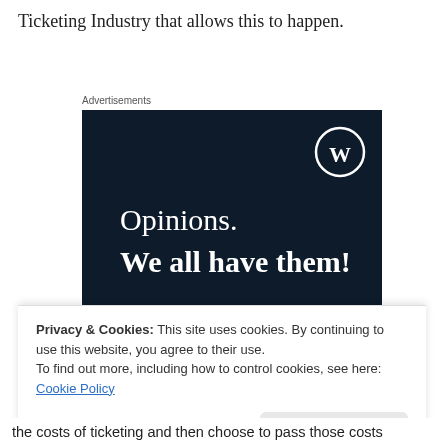Ticketing Industry that allows this to happen.
Advertisements
[Figure (photo): WordPress advertisement banner with dark navy background showing the WordPress logo (W in a circle) in the top right corner, text reading 'Opinions. We all have them!' in white, with a pink button and a partial white circle at the bottom.]
Privacy & Cookies: This site uses cookies. By continuing to use this website, you agree to their use.
To find out more, including how to control cookies, see here: Cookie Policy
Close and accept
the costs of ticketing and then choose to pass those costs